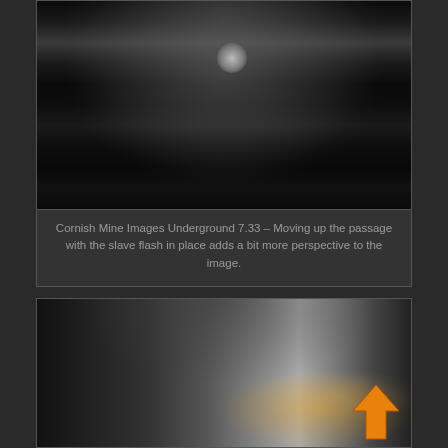[Figure (photo): Black and white photograph of an underground mine tunnel passage with a bright light source creating a glow effect in a dark, narrow rocky passage.]
Cornish Mine Images Underground 7.33 – Moving up the passage with the slave flash in place adds a bit more perspective to the image.
[Figure (photo): Black and white photograph of an underground mine tunnel showing two miners standing in a rocky arched passageway with lighting illuminating the rock walls. An orange upward-pointing arrow is overlaid in the bottom-right area of the image.]